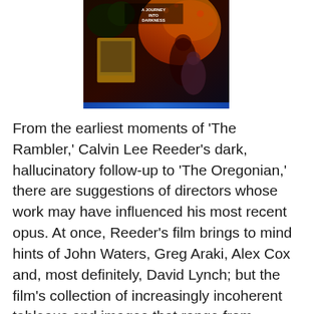[Figure (photo): Movie poster for 'The Rambler' showing dark hallucinatory imagery with figures and text 'A Journey Into Darkness']
From the earliest moments of 'The Rambler,' Calvin Lee Reeder's dark, hallucinatory follow-up to 'The Oregonian,' there are suggestions of directors whose work may have influenced his most recent opus. At once, Reeder's film brings to mind hints of John Waters, Greg Araki, Alex Cox and, most definitely, David Lynch; but the film's collection of increasingly incoherent tableaus and images that range from sorrowful, to odd, to horrific and finally, downright nonsensical, lacks the cohesion and deft touch that the direction of those mentioned above might be able bring to the table.